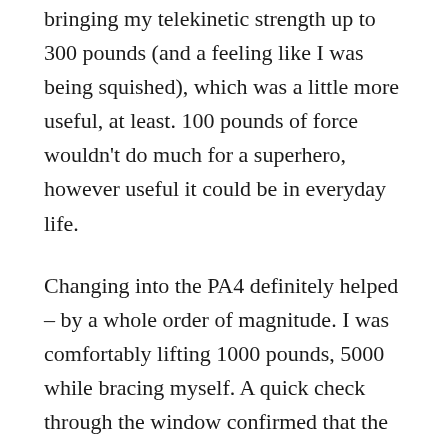bringing my telekinetic strength up to 300 pounds (and a feeling like I was being squished), which was a little more useful, at least. 100 pounds of force wouldn't do much for a superhero, however useful it could be in everyday life.
Changing into the PA4 definitely helped – by a whole order of magnitude. I was comfortably lifting 1000 pounds, 5000 while bracing myself. A quick check through the window confirmed that the expansion of my presence had gotten a similar enhancement – I was sensing at 1000 feet, one mile, and five miles.
There were no real surprises, and in the end I was classified just as I had expected to be – Self Buff 1 (Sensory) and Area Control 2 (Telekinetic*). Even if it wasn't quite accurate, Dr. Anomnachi explained, it was